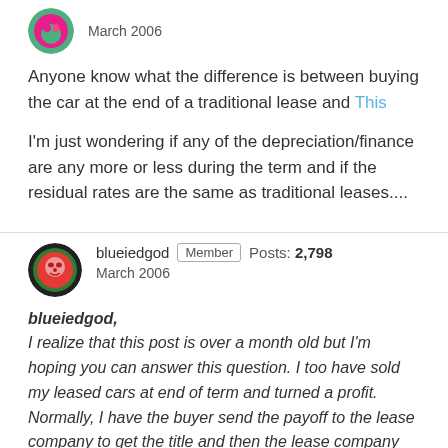[Figure (illustration): User avatar: colorful circular avatar with pink/green design]
March 2006
Anyone know what the difference is between buying the car at the end of a traditional lease and This
I'm just wondering if any of the depreciation/finance are any more or less during the term and if the residual rates are the same as traditional leases....
[Figure (illustration): User avatar: circular avatar with orange/red face on dark background]
blueiedgod  Member  Posts: 2,798  March 2006
blueiedgod,
I realize that this post is over a month old but I'm hoping you can answer this question. I too have sold my leased cars at end of term and turned a profit. Normally, I have the buyer send the payoff to the lease company to get the title and then the lease company sends me the overpayment (profit). This process also helps me avoid the sales tax if I were to buy the car myself ahead of the sale to a buyer.
Now with...